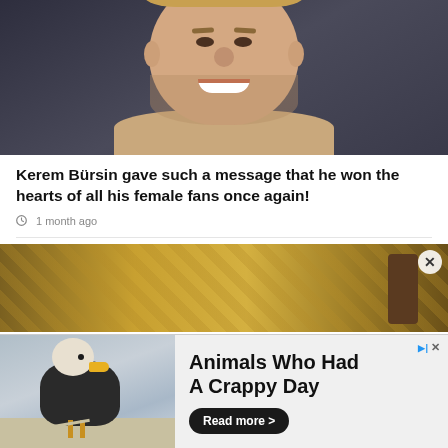[Figure (photo): Close-up photo of a young man with light stubble, smiling, wearing a beige/cream top, against a dark background]
Kerem Bürsin gave such a message that he won the hearts of all his female fans once again!
1 month ago
[Figure (photo): Partial photo of a person with ornate golden background, partially obscured]
[Figure (photo): Advertisement image showing a bald eagle standing on ground. Ad text: Animals Who Had A Crappy Day. Read more >]